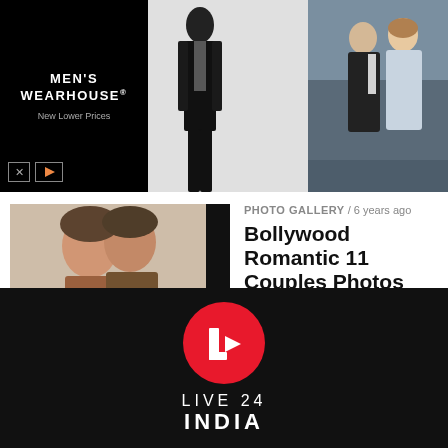[Figure (photo): Men's Wearhouse advertisement banner showing a model in a black suit with 'Pronto Uomo Black Note...' text and a VIEW button, alongside a photo of a couple in formal wedding attire]
PHOTO GALLERY / 6 years ago
Bollywood Romantic 11 Couples Photos
[Figure (photo): Thumbnail of a Bollywood couple in an intimate pose]
PHOTO GALLERY / 6 years ago
PATNA : ‘Prakash Utsav’ Shri Guru Gobind Singh #Seepics
[Figure (photo): Thumbnail of illuminated festival decorations at night for Prakash Utsav]
[Figure (logo): Live 24 India logo - red circle with white L and play button arrow, with text LIVE 24 INDIA below]